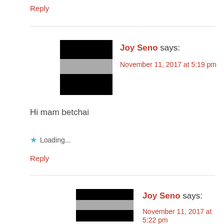Reply
[Figure (other): Horizontal divider line]
[Figure (photo): Avatar image — black rectangle with gray stripe across middle]
Joy Seno says:
November 11, 2017 at 5:19 pm
Hi mam betchai
Loading...
Reply
[Figure (other): Horizontal divider line]
[Figure (photo): Avatar image — black rectangle with gray stripe across middle]
Joy Seno says:
November 11, 2017 at 5:22 pm